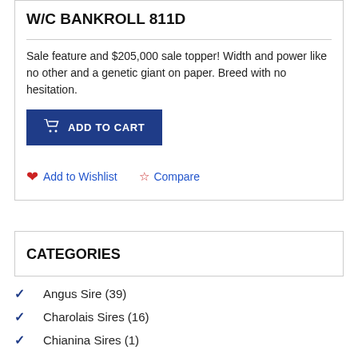W/C BANKROLL 811D
Sale feature and $205,000 sale topper! Width and power like no other and a genetic giant on paper. Breed with no hesitation.
[Figure (other): Blue 'ADD TO CART' button with shopping cart icon]
♥ Add to Wishlist ☆ Compare
CATEGORIES
Angus Sire (39)
Charolais Sires (16)
Chianina Sires (1)